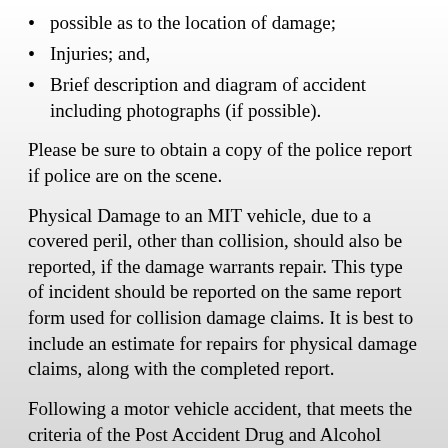possible as to the location of damage;
Injuries; and,
Brief description and diagram of accident including photographs (if possible).
Please be sure to obtain a copy of the police report if police are on the scene.
Physical Damage to an MIT vehicle, due to a covered peril, other than collision, should also be reported, if the damage warrants repair. This type of incident should be reported on the same report form used for collision damage claims. It is best to include an estimate for repairs for physical damage claims, along with the completed report.
Following a motor vehicle accident, that meets the criteria of the Post Accident Drug and Alcohol Testing Policy, vehicle operators may be required to submit to a drug/alcohol test.